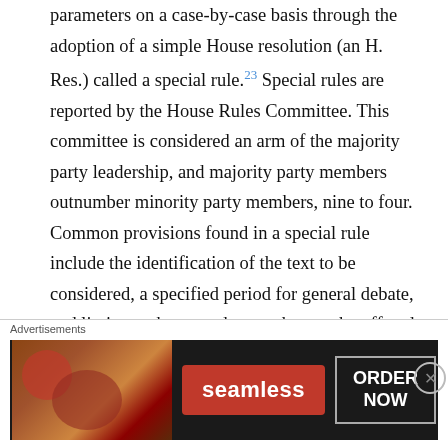parameters on a case-by-case basis through the adoption of a simple House resolution (an H. Res.) called a special rule.23 Special rules are reported by the House Rules Committee. This committee is considered an arm of the majority party leadership, and majority party members outnumber minority party members, nine to four. Common provisions found in a special rule include the identification of the text to be considered, a specified period for general debate, and limits on the amendments that can be offered on the floor. For instance, sometimes the committee reports a rule that places few restrictions at all on amending, which can result in dozens of amendments being offered on the floor during consideration.24 In other cases, the special rule
[Figure (other): Advertisement banner for Seamless food ordering service showing pizza image, Seamless logo in red, and ORDER NOW button]